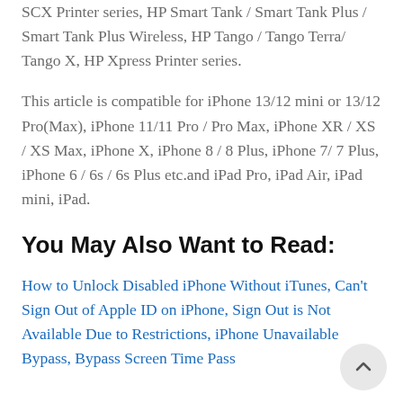Printer series, HP Photosmart Printer series, HP SCX Printer series, HP Smart Tank / Smart Tank Plus / Smart Tank Plus Wireless, HP Tango / Tango Terra/ Tango X, HP Xpress Printer series.
This article is compatible for iPhone 13/12 mini or 13/12 Pro(Max), iPhone 11/11 Pro / Pro Max, iPhone XR / XS / XS Max, iPhone X, iPhone 8 / 8 Plus, iPhone 7/ 7 Plus, iPhone 6 / 6s / 6s Plus etc.and iPad Pro, iPad Air, iPad mini, iPad.
You May Also Want to Read:
How to Unlock Disabled iPhone Without iTunes, Can't Sign Out of Apple ID on iPhone, Sign Out is Not Available Due to Restrictions, iPhone Unavailable Bypass, Bypass Screen Time Passcode, iPhone is Disabled How to Fix,